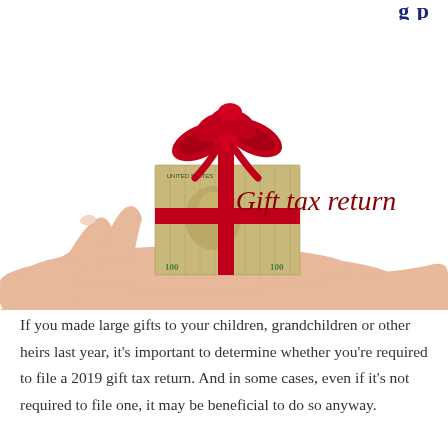g p
[Figure (photo): A hand holding a gift box wrapped in $100 bills tied with a red ribbon and topped with a red bow, next to the text 'Gift tax return' in dark red serif font on white background.]
If you made large gifts to your children, grandchildren or other heirs last year, it's important to determine whether you're required to file a 2019 gift tax return. And in some cases, even if it's not required to file one, it may be beneficial to do so anyway.